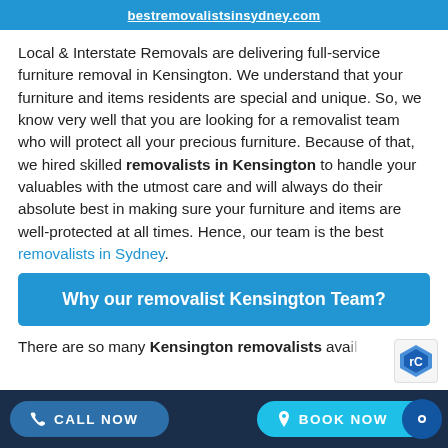bestremovalistsinsydney.com
Local & Interstate Removals are delivering full-service furniture removal in Kensington. We understand that your furniture and items residents are special and unique. So, we know very well that you are looking for a removalist team who will protect all your precious furniture. Because of that, we hired skilled removalists in Kensington to handle your valuables with the utmost care and will always do their absolute best in making sure your furniture and items are well-protected at all times. Hence, our team is the best removalists in Sydney.
Why our removalist Kensington Team?
There are so many Kensington removalists available
CALL NOW   BOOK NOW